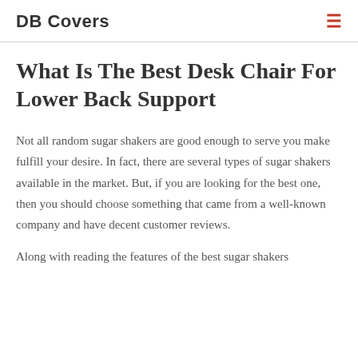DB Covers
What Is The Best Desk Chair For Lower Back Support
Not all random sugar shakers are good enough to serve you make fulfill your desire. In fact, there are several types of sugar shakers available in the market. But, if you are looking for the best one, then you should choose something that came from a well-known company and have decent customer reviews.
Along with reading the features of the best sugar shakers